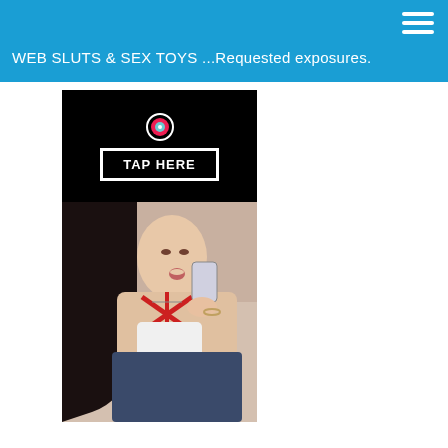WEB SLUTS & SEX TOYS ...Requested exposures.
[Figure (screenshot): Black banner with TikTok logo icon at top and TAP HERE button in white bordered rectangle]
[Figure (photo): Young woman with long black hair wearing red strappy bikini top holding a phone, looking upward with mouth open]